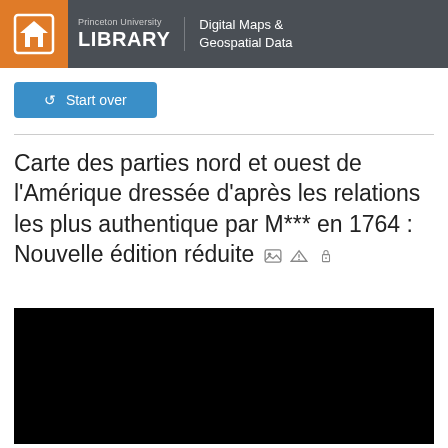Princeton University Library — Digital Maps & Geospatial Data
↺ Start over
Carte des parties nord et ouest de l'Amérique dressée d'après les relations les plus authentique par M*** en 1764 : Nouvelle édition réduite
[Figure (photo): Black thumbnail preview of map image]